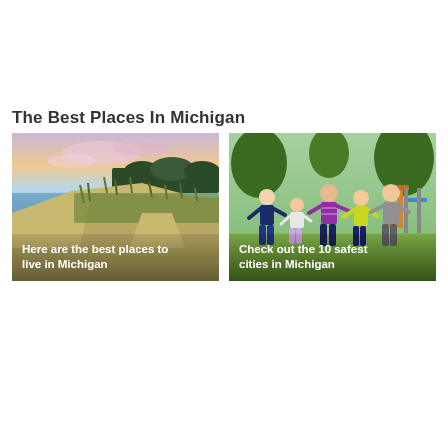The Best Places In Michigan
[Figure (photo): A scenic beach path with green dunes and grasses along a lake shore at sunset, with a pink and blue sky.]
Here are the best places to live in Michigan
[Figure (photo): Children running and playing outdoors in a park setting, smiling and laughing.]
Check out the 10 safest cities in Michigan